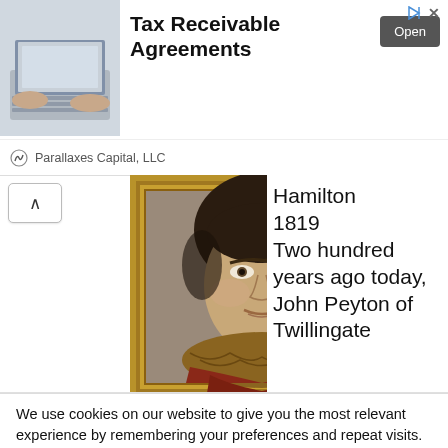[Figure (screenshot): Advertisement banner for 'Tax Receivable Agreements' by Parallaxes Capital, LLC. Shows a photo of hands on a laptop keyboard, bold title text, and an 'Open' button.]
[Figure (photo): Portrait painting of a young person with dark hair, wearing a fur-trimmed red garment, in a gilded frame.]
Hamilton
1819
Two hundred years ago today, John Peyton of Twillingate
We use cookies on our website to give you the most relevant experience by remembering your preferences and repeat visits. By clicking “Accept”, you consent to the use of ALL the cookies.
Do not sell my personal information.